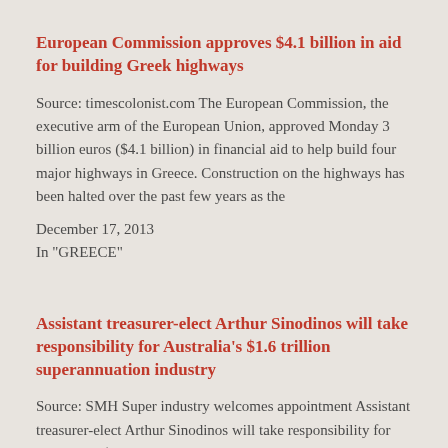European Commission approves $4.1 billion in aid for building Greek highways
Source: timescolonist.com The European Commission, the executive arm of the European Union, approved Monday 3 billion euros ($4.1 billion) in financial aid to help build four major highways in Greece. Construction on the highways has been halted over the past few years as the
December 17, 2013
In "GREECE"
Assistant treasurer-elect Arthur Sinodinos will take responsibility for Australia's $1.6 trillion superannuation industry
Source: SMH Super industry welcomes appointment Assistant treasurer-elect Arthur Sinodinos will take responsibility for Australia's $1.6 trillion superannuation industry, but the title will go. The industry was unsure on Monday when a minister for superannuation was not